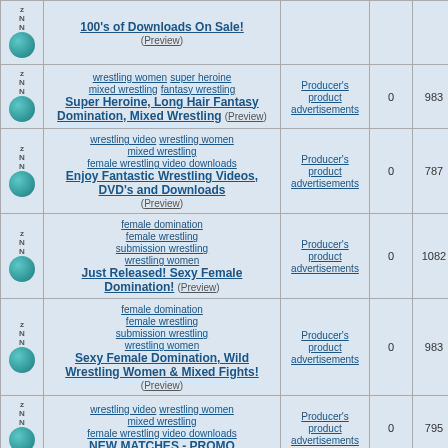|  | Content | Category | 0 | Views | Date |
| --- | --- | --- | --- | --- | --- |
| [icon] | 100's of Downloads On Sale! (Preview) |  |  |  |  |
| [icon] | wrestling women super heroine mixed wrestling fantasy wrestling Super Heroine, Long Hair Fantasy Domination, Mixed Wrestling (Preview) | Producer's product advertisements | 0 | 983 | Dec 8, 2016 by steelkittens |
| [icon] | wrestling video wrestling women mixed wrestling female wrestling video downloads Enjoy Fantastic Wrestling Videos, DVD's and Downloads (Preview) | Producer's product advertisements | 0 | 787 | Dec 18, 2016 by steelkittens |
| [icon] | female domination female wrestling submission wrestling wrestling women Just Released! Sexy Female Domination! (Preview) | Producer's product advertisements | 0 | 1082 | Mar 16, 2017 by steelkittens |
| [icon] | female domination female wrestling submission wrestling wrestling women Sexy Female Domination, Wild Wrestling Women & Mixed Fights! (Preview) | Producer's product advertisements | 0 | 983 | Mar 18, 2017 by steelkittens |
| [icon] | wrestling video wrestling women mixed wrestling female wrestling video downloads NEW MATCHES - PROMO | Producer's product advertisements | 0 | 795 | Apr 12, 2017 by steelkittens |